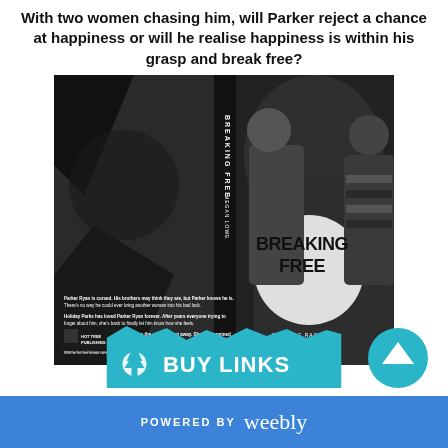With two women chasing him, will Parker reject a chance at happiness or will he realise happiness is within his grasp and break free?
[Figure (photo): Black and white book cover of 'Breaking Free' by Megan Lowe, part of the Rocking Racers series, published by Hot Tree Publishing. Shows a couple on the cover with the title in bold white text on a dark background. The spine and back cover are also visible showing the blurb text.]
[Figure (illustration): BUY LINKS banner in teal/cyan color with a tree logo icon]
[Figure (logo): Weebly 'Powered by Weebly' footer bar in blue]